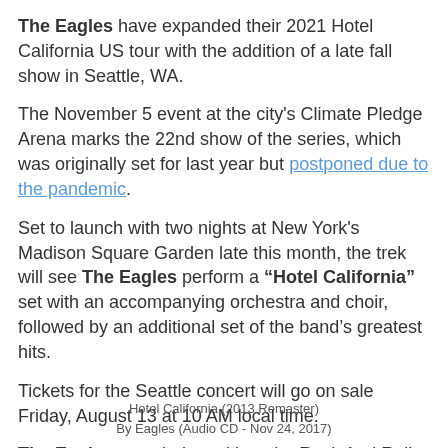The Eagles have expanded their 2021 Hotel California US tour with the addition of a late fall show in Seattle, WA.
The November 5 event at the city's Climate Pledge Arena marks the 22nd show of the series, which was originally set for last year but postponed due to the pandemic.
Set to launch with two nights at New York's Madison Square Garden late this month, the trek will see The Eagles perform a “Hotel California” set with an accompanying orchestra and choir, followed by an additional set of the band’s greatest hits.
Tickets for the Seattle concert will go on sale Friday, August 13 at 10 AM local time.
The Eagles were inducted into the Rock And Roll Hall Of Fame in 1998.
Hotel California (2013 Remaster)
By Eagles (Audio CD - Nov 24, 2017)